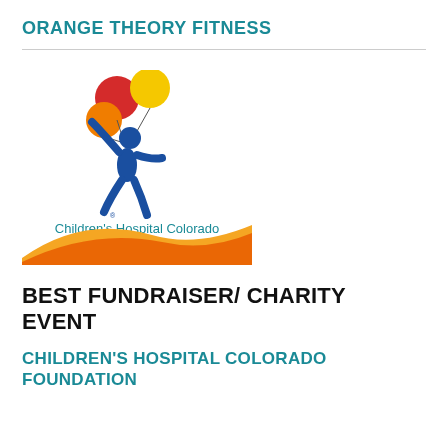ORANGE THEORY FITNESS
[Figure (logo): Children's Hospital Colorado Foundation logo with a blue child figure holding colorful balloons (red, yellow, orange), a wave design in orange and yellow below, and the text 'Children's Hospital Colorado Foundation']
BEST FUNDRAISER/ CHARITY EVENT
CHILDREN'S HOSPITAL COLORADO FOUNDATION